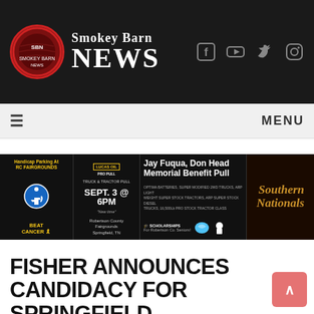Smokey Barn NEWS
[Figure (logo): Smokey Barn News logo with circular SBN emblem and social media icons (Facebook, YouTube, Twitter, Instagram)]
MENU
[Figure (infographic): Advertisement banner: Jay Fuqua, Don Head Memorial Benefit Pull - Southern Nationals. Lucas Oil Pro Pull. Truck & Tractor Pull Sept. 3 @ 6PM. Robertson County Fairgrounds, Springfield, TN. Scholarships for Robertson Co. Seniors. St. Jude Children's Research Hospital. Beat Cancer ribbon.]
FISHER ANNOUNCES CANDIDACY FOR SPRINGFIELD